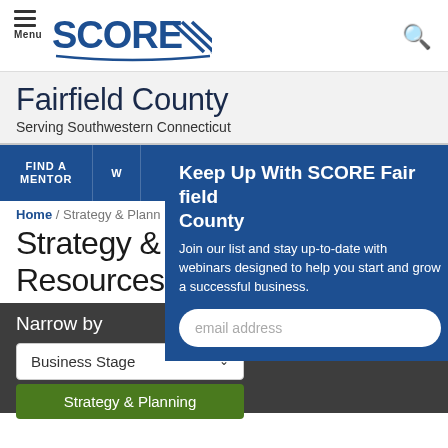SCORE — Menu / Search
Fairfield County
Serving Southwestern Connecticut
FIND A MENTOR  W[orkshops]
Home / Strategy & Planning... Strategy & Planning Resources
Keep Up With SCORE Fairfield County
Join our list and stay up-to-date with webinars designed to help you start and grow a successful business.
email address
Narrow by
Business Stage
Strategy & Planning